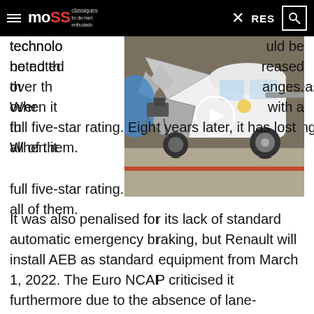mo SS | RES [search]
[Figure (photo): A crash-tested white car with hood open and front end heavily damaged, shown in a test facility]
technology ... uld be noted the ... reased over the ... anges. When it ... with a full five-star rating. Eight years later, it has lost all of them.
It was also penalised for its lack of standard automatic emergency braking, but Renault will install AEB as standard equipment from March 1, 2022. The Euro NCAP criticised it furthermore due to the absence of lane-departure warning as standard and explains it might have given the car a star if it still had the previously fitted side-mounted airbag.